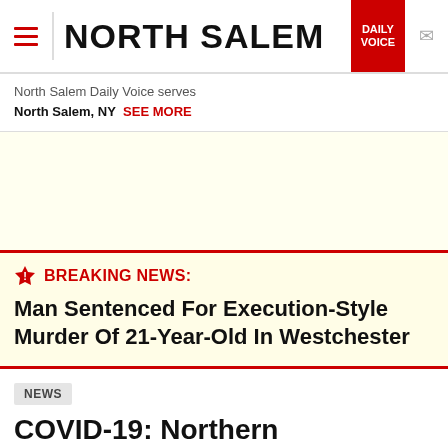NORTH SALEM — DAILY VOICE
North Salem Daily Voice serves
North Salem, NY  SEE MORE
[Figure (other): Advertisement / promotional banner area with light yellow background]
BREAKING NEWS: Man Sentenced For Execution-Style Murder Of 21-Year-Old In Westchester
NEWS
COVID-19: Northern Westchester Town Could Be First In NY To Mandate Mask Wearing